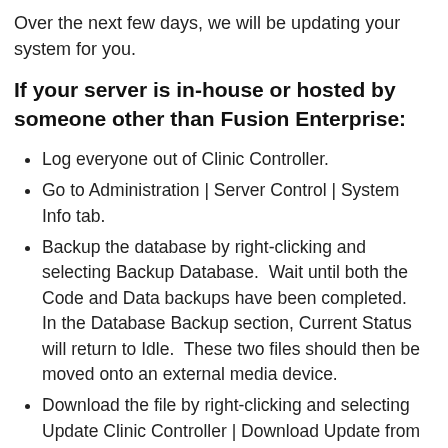Over the next few days, we will be updating your system for you.
If your server is in-house or hosted by someone other than Fusion Enterprise:
Log everyone out of Clinic Controller.
Go to Administration | Server Control | System Info tab.
Backup the database by right-clicking and selecting Backup Database.  Wait until both the Code and Data backups have been completed.  In the Database Backup section, Current Status will return to Idle.  These two files should then be moved onto an external media device.
Download the file by right-clicking and selecting Update Clinic Controller | Download Update from A2C.  The download is complete